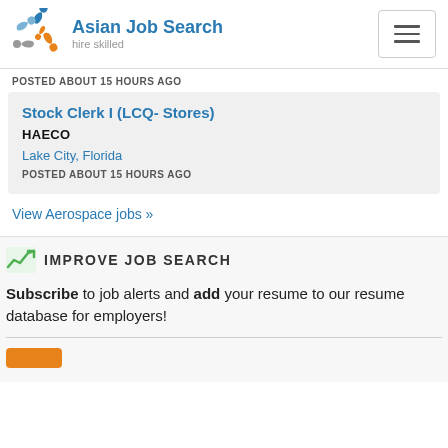[Figure (logo): Asian Job Search logo with colorful star-people icon and text 'Asian Job Search hire skilled']
POSTED ABOUT 15 HOURS AGO
Stock Clerk I (LCQ- Stores)
HAECO
Lake City, Florida
POSTED ABOUT 15 HOURS AGO
View Aerospace jobs »
IMPROVE JOB SEARCH
Subscribe to job alerts and add your resume to our resume database for employers!